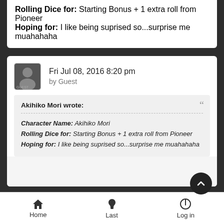Rolling Dice for: Starting Bonus + 1 extra roll from Pioneer
Hoping for: I like being suprised so...surprise me muahahaha
Fri Jul 08, 2016 8:20 pm
by Guest
Akihiko Mori wrote:
Character Name: Akihiko Mori
Rolling Dice for: Starting Bonus + 1 extra roll from Pioneer
Hoping for: I like being suprised so...surprise me muahahaha
Home  Last  Log in